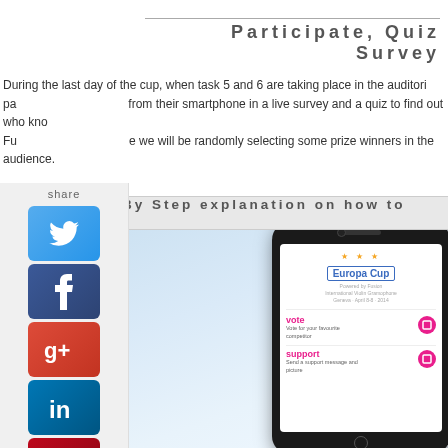Participate, Quiz Survey
During the last day of the cup, when task 5 and 6 are taking place in the auditorium, participants can vote from their smartphone in a live survey and a quiz to find out who knows best. Furthermore we will be randomly selecting some prize winners in the audience.
Step By Step explanation on how to join
[Figure (screenshot): Smartphone displaying Europa Cup app with vote and support options]